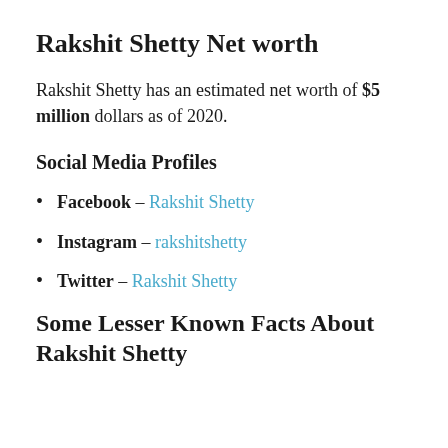Rakshit Shetty Net worth
Rakshit Shetty has an estimated net worth of $5 million dollars as of 2020.
Social Media Profiles
Facebook – Rakshit Shetty
Instagram – rakshitshetty
Twitter – Rakshit Shetty
Some Lesser Known Facts About Rakshit Shetty